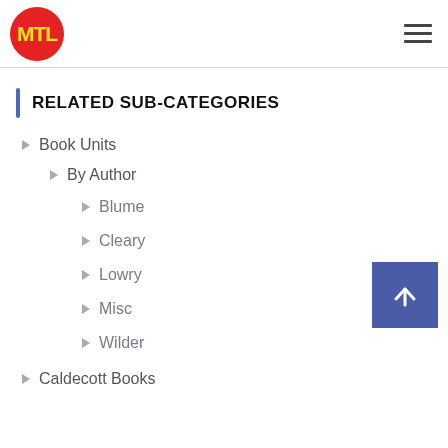[Figure (logo): MTL logo: red circle with yellow MTL text]
RELATED SUB-CATEGORIES
Book Units
By Author
Blume
Cleary
Lowry
Misc
Wilder
Caldecott Books